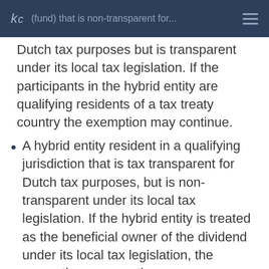kc — (fund) that is non-transparent for Dutch tax purposes but is transparent under its local tax legislation. If the participants in the hybrid entity are qualifying residents of a tax treaty country the exemption may continue.
(fund) that is non-transparent for Dutch tax purposes but is transparent under its local tax legislation. If the participants in the hybrid entity are qualifying residents of a tax treaty country the exemption may continue.
A hybrid entity resident in a qualifying jurisdiction that is tax transparent for Dutch tax purposes, but is non-transparent under its local tax legislation. If the hybrid entity is treated as the beneficial owner of the dividend under its local tax legislation, the exemption may continue.